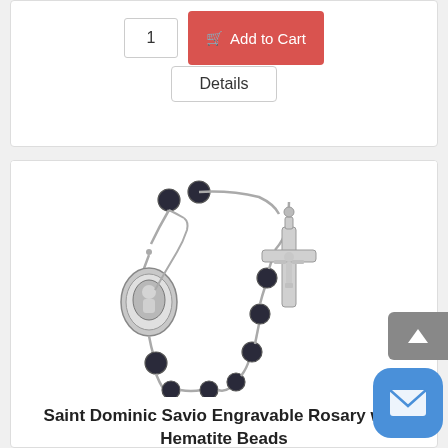[Figure (screenshot): Add to Cart button area with quantity input showing '1' and red 'Add to Cart' button, plus 'Details' button below]
[Figure (photo): Saint Dominic Savio Engravable Rosary with Hematite Beads — a rosary with dark hematite beads, silver chain, oval saint medallion center, and silver crucifix]
Saint Dominic Savio Engravable Rosary with Hematite Beads
(0 reviews)